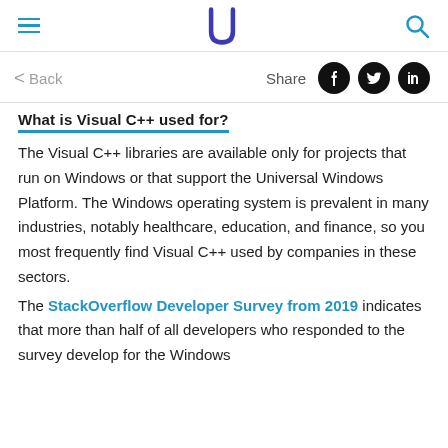Udacity — navigation header with hamburger menu, logo, and search icon
< Back   Share
What is Visual C++ used for?
The Visual C++ libraries are available only for projects that run on Windows or that support the Universal Windows Platform. The Windows operating system is prevalent in many industries, notably healthcare, education, and finance, so you most frequently find Visual C++ used by companies in these sectors.
The StackOverflow Developer Survey from 2019 indicates that more than half of all developers who responded to the survey develop for the Windows